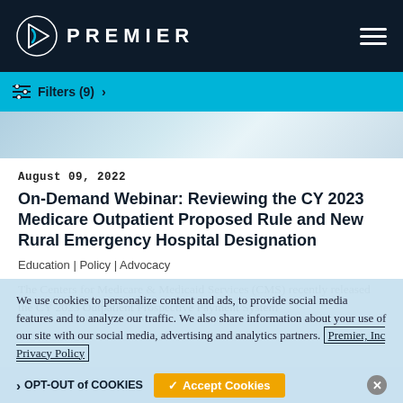[Figure (logo): Premier Inc. logo with triangular icon and PREMIER wordmark in white on dark navy background, hamburger menu icon top right]
Filters (9) >
[Figure (photo): Partial photo strip showing blurred office/binder background in blue tones]
August 09, 2022
On-Demand Webinar: Reviewing the CY 2023 Medicare Outpatient Proposed Rule and New Rural Emergency Hospital Designation
Education | Policy | Advocacy
The Centers for Medicare & Medicaid Services (CMS) recently released the CY 2023 Outpatient Prospective Payment System
We use cookies to personalize content and ads, to provide social media features and to analyze our traffic. We also share information about your use of our site with our social media, advertising and analytics partners. Premier, Inc Privacy Policy
OPT-OUT of COOKIES
Accept Cookies